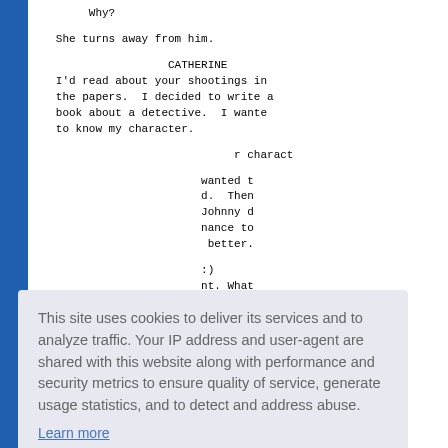Why?
She turns away from him.
CATHERINE
I'd read about your shootings in
the papers.  I decided to write a
book about a detective.  I wanted
to know my character.
r charact
wanted t
d.  Then
Johnny d
nance to
better.
:)
nt. What
nat to ge
t in my
[Figure (screenshot): Cookie consent overlay with text: 'This site uses cookies to deliver its services and to analyze traffic. Your IP address and user-agent are shared with this website along with performance and security metrics to ensure quality of service, generate usage statistics, and to detect and address abuse.' with a 'Learn more' link and a 'Got it!' button.]
Their eyes are on each other.